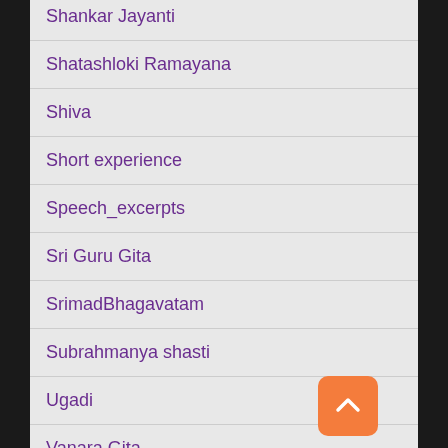Shankar Jayanti
Shatashloki Ramayana
Shiva
Short experience
Speech_excerpts
Sri Guru Gita
SrimadBhagavatam
Subrahmanya shasti
Ugadi
Vanara Gita
Venkateshwara Kalyanam
Videos On Demand